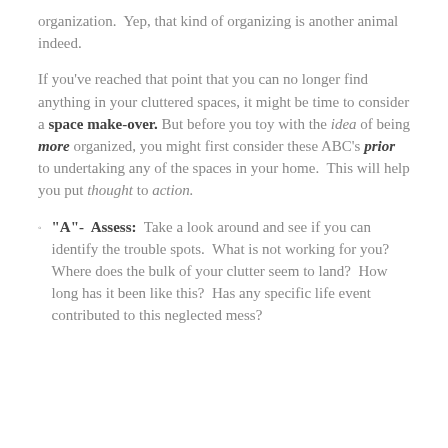organization. Yep, that kind of organizing is another animal indeed.
If you've reached that point that you can no longer find anything in your cluttered spaces, it might be time to consider a space makeover. But before you toy with the idea of being more organized, you might first consider these ABC's prior to undertaking any of the spaces in your home. This will help you put thought to action.
"A"- Assess: Take a look around and see if you can identify the trouble spots. What is not working for you? Where does the bulk of your clutter seem to land? How long has it been like this? Has any specific life event contributed to this neglected mess?